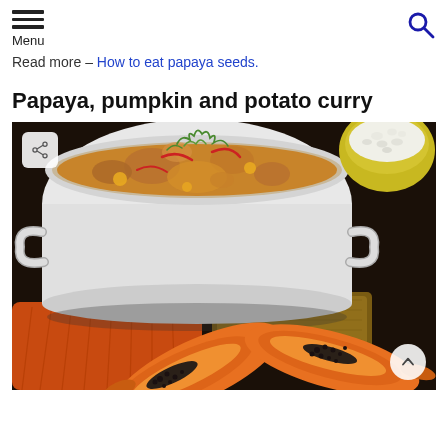Menu
Read more – How to eat papaya seeds.
Papaya, pumpkin and potato curry
[Figure (photo): A white pot filled with papaya, pumpkin and potato curry garnished with green herbs and red chili strips, with two halved papayas showing orange flesh and black seeds in the foreground, and a yellow bowl of white rice in the background, all on a dark wooden surface with an orange cloth.]